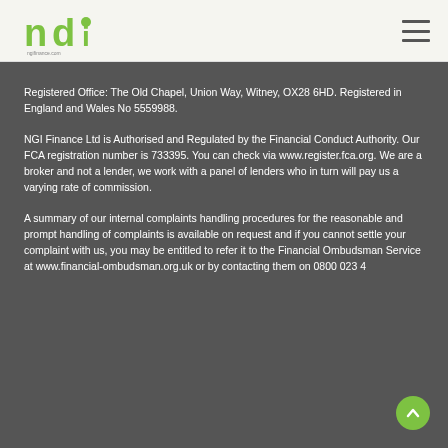NGI Finance Ltd
Registered Office: The Old Chapel, Union Way, Witney, OX28 6HD. Registered in England and Wales No 5559988.
NGI Finance Ltd is Authorised and Regulated by the Financial Conduct Authority. Our FCA registration number is 733395. You can check via www.register.fca.org. We are a broker and not a lender, we work with a panel of lenders who in turn will pay us a varying rate of commission.
A summary of our internal complaints handling procedures for the reasonable and prompt handling of complaints is available on request and if you cannot settle your complaint with us, you may be entitled to refer it to the Financial Ombudsman Service at www.financial-ombudsman.org.uk or by contacting them on 0800 023 4